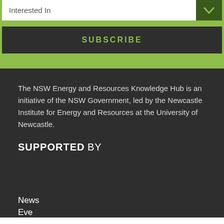Interested In
SUBSCRIBE
The NSW Energy and Resources Knowledge Hub is an initiative of the NSW Government, led by the Newcastle Institute for Energy and Resources at the University of Newcastle.
SUPPORTED BY
News
Events